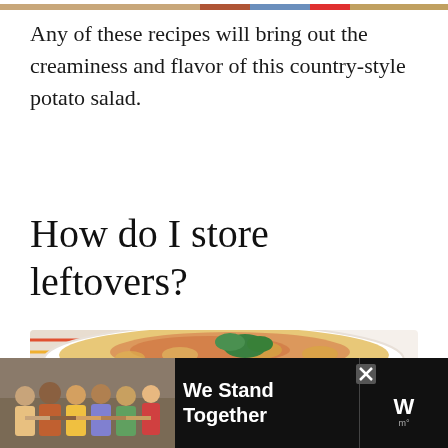[Figure (photo): Decorative top image strip with colorful food photos]
Any of these recipes will bring out the creaminess and flavor of this country-style potato salad.
How do I store leftovers?
[Figure (photo): Close-up photo of a white bowl filled with creamy potato salad topped with paprika and fresh cilantro, with colorful napkin in background]
[Figure (photo): Advertisement banner showing group of people with text 'We Stand Together' and close button]